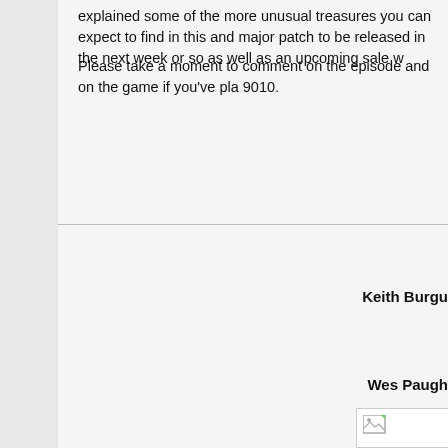explained some of the more unusual treasures you can expect to find in this and major patch to be released in the next week or so as well as an upcoming sale w
Please take a moment to comment on the episode and on the game if you've pla 9010.
Keith Burgu
Wes Paugh
[Figure (photo): Broken image placeholder with small icon in top-left corner]